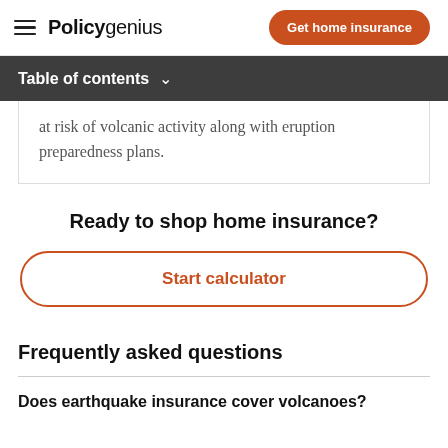Policygenius | Get home insurance
Table of contents
at risk of volcanic activity along with eruption preparedness plans.
Ready to shop home insurance?
Start calculator
Frequently asked questions
Does earthquake insurance cover volcanoes?